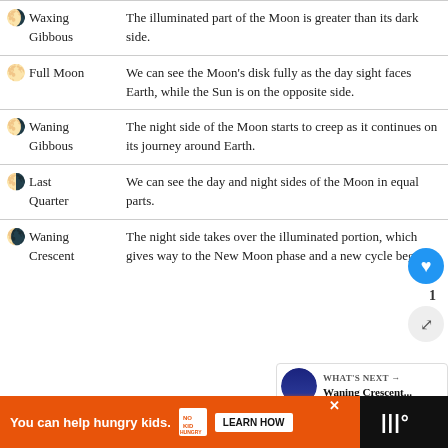| Phase | Description |
| --- | --- |
| 🌖 Waxing Gibbous | The illuminated part of the Moon is greater than its dark side. |
| 🌕 Full Moon | We can see the Moon's disk fully as the day sight faces Earth, while the Sun is on the opposite side. |
| 🌖 Waning Gibbous | The night side of the Moon starts to creep as it continues on its journey around Earth. |
| 🌗 Last Quarter | We can see the day and night sides of the Moon in equal parts. |
| 🌘 Waning Crescent | The night side takes over the illuminated portion, which gives way to the New Moon phase and a new cycle begins. |
[Figure (infographic): Advertisement bar at bottom: 'You can help hungry kids.' with No Kid Hungry logo and Learn How button on orange background.]